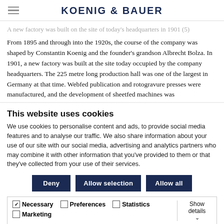KOENIG & BAUER
A new factory was built on the site of today's headquarters in 1901 (5)
From 1895 and through into the 1920s, the course of the company was shaped by Constantin Koenig and the founder's grandson Albrecht Bolza. In 1901, a new factory was built at the site today occupied by the company headquarters. The 225 metre long production hall was one of the largest in Germany at that time. Webfed publication and rotogravure presses were manufactured, and the development of sheetfed machines was
This website uses cookies
We use cookies to personalise content and ads, to provide social media features and to analyse our traffic. We also share information about your use of our site with our social media, advertising and analytics partners who may combine it with other information that you've provided to them or that they've collected from your use of their services.
Deny | Allow selection | Allow all
Necessary  Preferences  Statistics  Marketing  Show details